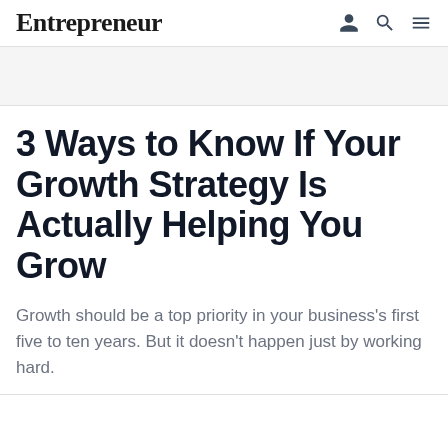Entrepreneur
3 Ways to Know If Your Growth Strategy Is Actually Helping You Grow
Growth should be a top priority in your business's first five to ten years. But it doesn't happen just by working hard.